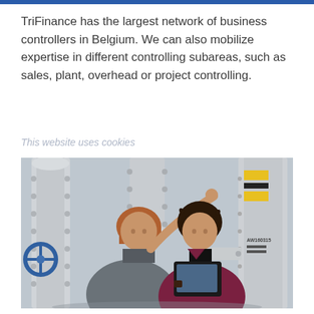TriFinance has the largest network of business controllers in Belgium. We can also mobilize expertise in different controlling subareas, such as sales, plant, overhead or project controlling.
This website uses cookies
[Figure (photo): Two professional women in an industrial facility — one with red hair in a gray jacket pointing upward, the other with dark curly hair in a burgundy jacket holding a tablet and looking up. Industrial pipes, valves, and equipment visible in the background.]